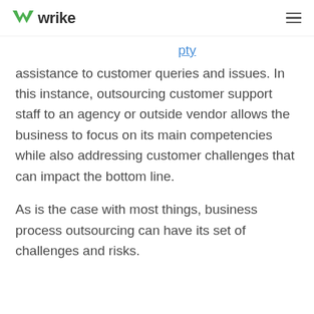wrike
assistance to customer queries and issues. In this instance, outsourcing customer support staff to an agency or outside vendor allows the business to focus on its main competencies while also addressing customer challenges that can impact the bottom line.
As is the case with most things, business process outsourcing can have its set of challenges and risks.